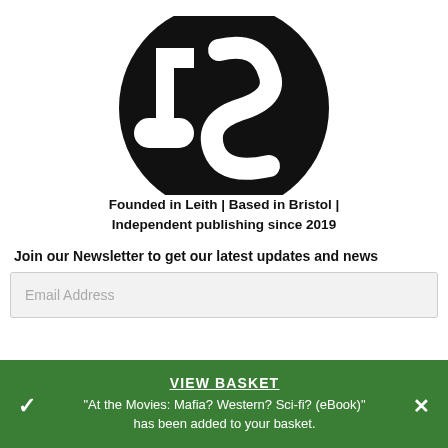[Figure (logo): Black circular logo with letters 'JS' in white, partially cropped at top]
Founded in Leith | Based in Bristol | Independent publishing since 2019
Join our Newsletter to get our latest updates and news
Email Address
VIEW BASKET
"At the Movies: Mafia? Western? Sci-fi? (eBook)" has been added to your basket.